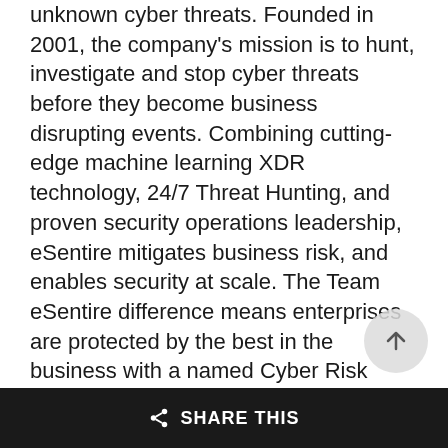unknown cyber threats. Founded in 2001, the company's mission is to hunt, investigate and stop cyber threats before they become business disrupting events. Combining cutting-edge machine learning XDR technology, 24/7 Threat Hunting, and proven security operations leadership, eSentire mitigates business risk, and enables security at scale. The Team eSentire difference means enterprises are protected by the best in the business with a named Cyber Risk Advisor, 24/7 access to SOC Cyber Analysts & Elite Threat Hunters, and industry-leading threat intelligence research from eSentire's Threat Response Unit (TRU).
SHARE THIS